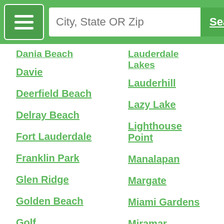City, State OR Zip | Search
Dania Beach
Lauderdale Lakes
Davie
Lauderhill
Deerfield Beach
Lazy Lake
Delray Beach
Lighthouse Point
Fort Lauderdale
Manalapan
Franklin Park
Margate
Glen Ridge
Miami Gardens
Golden Beach
Miramar
Golf
North Lauderdale